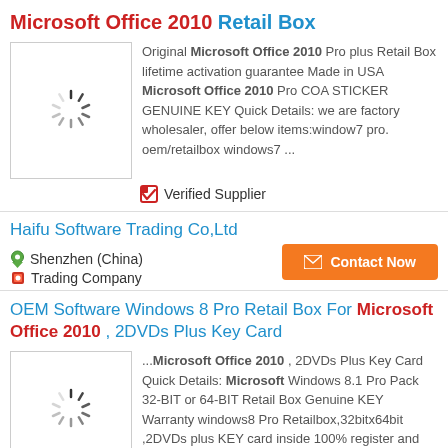Microsoft Office 2010 Retail Box
[Figure (photo): Product image placeholder with loading spinner]
Original Microsoft Office 2010 Pro plus Retail Box lifetime activation guarantee Made in USA Microsoft Office 2010 Pro COA STICKER GENUINE KEY Quick Details: we are factory wholesaler, offer below items:window7 pro. oem/retailbox windows7 ...
✅ Verified Supplier
Haifu Software Trading Co,Ltd
📍 Shenzhen (China)
🎁 Trading Company
OEM Software Windows 8 Pro Retail Box For Microsoft Office 2010 , 2DVDs Plus Key Card
[Figure (photo): Product image placeholder with loading spinner]
...Microsoft Office 2010 , 2DVDs Plus Key Card Quick Details: Microsoft Windows 8.1 Pro Pack 32-BIT or 64-BIT Retail Box Genuine KEY Warranty windows8 Pro Retailbox,32bitx64bit ,2DVDs plus KEY card inside 100% register and activation available Other Choice: windows pro oem sticker  Microsoft Office Activati...